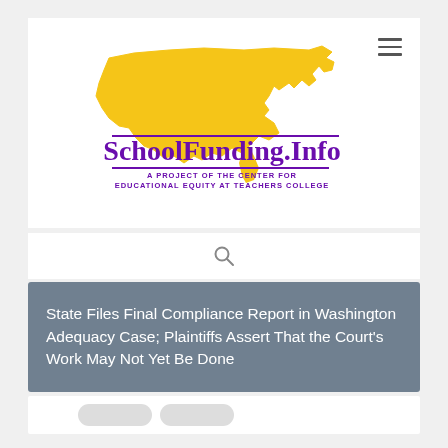[Figure (logo): SchoolFunding.Info logo with golden USA map silhouette and purple text reading 'SchoolFunding.Info — A Project of the Center for Educational Equity at Teachers College']
[Figure (other): Search magnifying glass icon]
State Files Final Compliance Report in Washington Adequacy Case; Plaintiffs Assert That the Court's Work May Not Yet Be Done